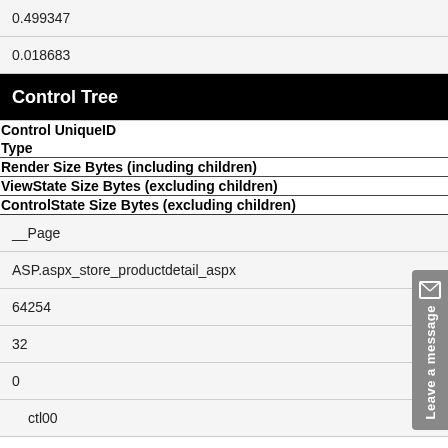0.499347
0.018683
Control Tree
| Control UniqueID | Type | Render Size Bytes (including children) | ViewState Size Bytes (excluding children) | ControlState Size Bytes (excluding children) |
| --- | --- | --- | --- | --- |
| __Page | ASP.aspx_store_productdetail_aspx | 64254 | 32 | 0 | ctl00 |